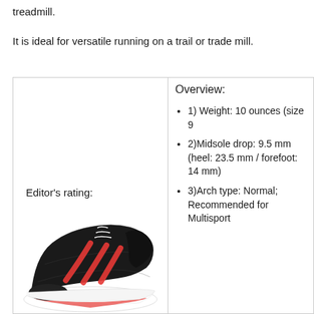treadmill.
It is ideal for versatile running on a trail or trade mill.
[Figure (photo): Black and red Adidas running shoe (Duramo 9) with white sole, shown from the side on a white background]
Editor's rating:
Overview:
1) Weight: 10 ounces (size 9
2)Midsole drop: 9.5 mm (heel: 23.5 mm / forefoot: 14 mm)
3)Arch type: Normal; Recommended for Multisport